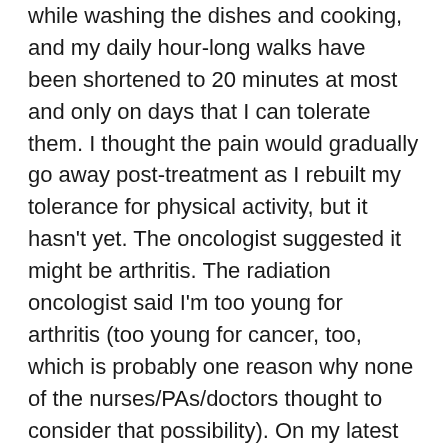while washing the dishes and cooking, and my daily hour-long walks have been shortened to 20 minutes at most and only on days that I can tolerate them. I thought the pain would gradually go away post-treatment as I rebuilt my tolerance for physical activity, but it hasn't yet. The oncologist suggested it might be arthritis. The radiation oncologist said I'm too young for arthritis (too young for cancer, too, which is probably one reason why none of the nurses/PAs/doctors thought to consider that possibility). On my latest appointment, the PA suggested an MRI of my spine if the pain continues or gets worse since the PET scan isn't enough to tell what it could be.
Post-treatment, it also feels like I'm breathing with baby lungs. Taking the pugs for a walk leaves me gasping for air and utterly destroyed after. Walking, once a great joy